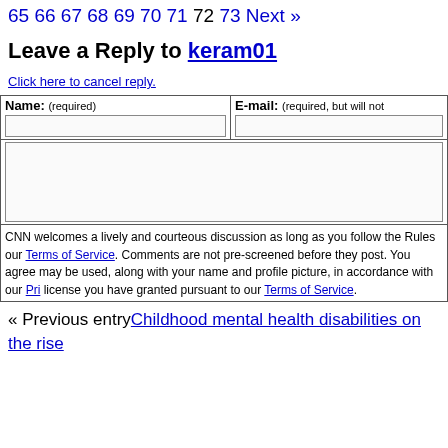65 66 67 68 69 70 71 72 73 Next »
Leave a Reply to keram01
Click here to cancel reply.
| Name: (required) | E-mail: (required, but will not be published) |
| --- | --- |
| [text input] | [text input] |
| [textarea] |  |
| CNN welcomes a lively and courteous discussion as long as you follow the Rules our Terms of Service. Comments are not pre-screened before they post. You agree may be used, along with your name and profile picture, in accordance with our Pri license you have granted pursuant to our Terms of Service. |  |
« Previous entryChildhood mental health disabilities on the rise